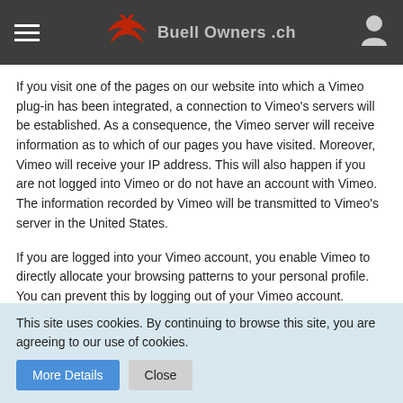Buell Owners .ch
If you visit one of the pages on our website into which a Vimeo plug-in has been integrated, a connection to Vimeo’s servers will be established. As a consequence, the Vimeo server will receive information as to which of our pages you have visited. Moreover, Vimeo will receive your IP address. This will also happen if you are not logged into Vimeo or do not have an account with Vimeo. The information recorded by Vimeo will be transmitted to Vimeo’s server in the United States.
If you are logged into your Vimeo account, you enable Vimeo to directly allocate your browsing patterns to your personal profile. You can prevent this by logging out of your Vimeo account.
The use of Vimeo is based on our interest in presenting our
This site uses cookies. By continuing to browse this site, you are agreeing to our use of cookies.